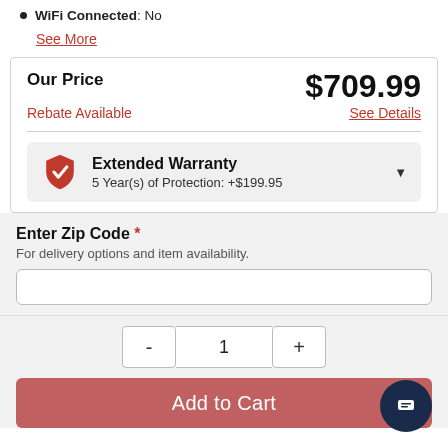WiFi Connected: No
See More
Our Price  $709.99
Rebate Available  See Details
Extended Warranty
5 Year(s) of Protection: +$199.95
Enter Zip Code *
For delivery options and item availability.
- 1 +
Add to Cart